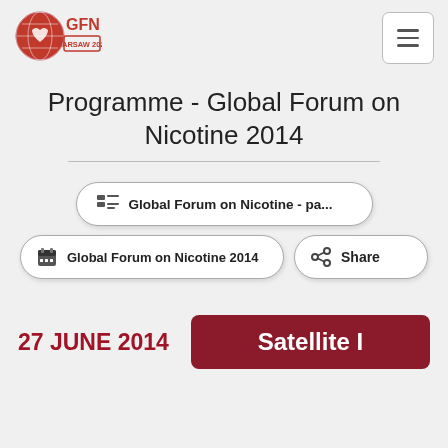GFN Warsaw 2022 logo and navigation
Programme - Global Forum on Nicotine 2014
Global Forum on Nicotine - pa...
Global Forum on Nicotine 2014
Share
27 JUNE 2014
Satellite I